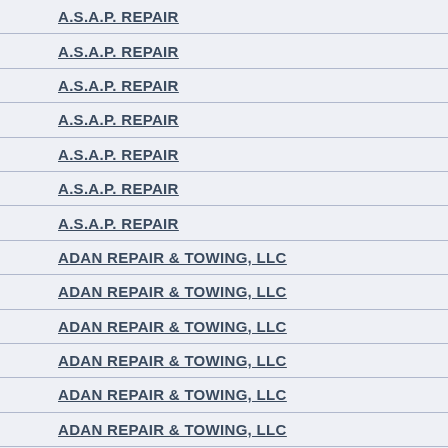A.S.A.P. REPAIR
A.S.A.P. REPAIR
A.S.A.P. REPAIR
A.S.A.P. REPAIR
A.S.A.P. REPAIR
A.S.A.P. REPAIR
A.S.A.P. REPAIR
ADAN REPAIR & TOWING, LLC
ADAN REPAIR & TOWING, LLC
ADAN REPAIR & TOWING, LLC
ADAN REPAIR & TOWING, LLC
ADAN REPAIR & TOWING, LLC
ADAN REPAIR & TOWING, LLC